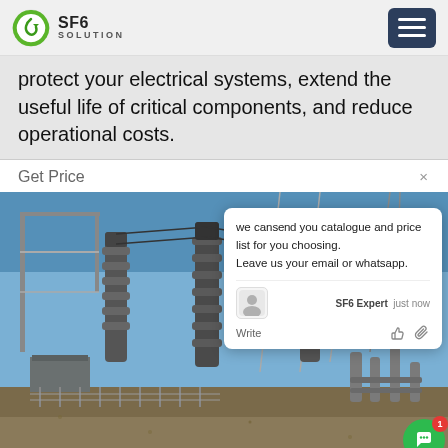SF6 SOLUTION
protect your electrical systems, extend the useful life of critical components, and reduce operational costs.
Get Price
[Figure (photo): Electrical substation with high-voltage insulators, towers, and power lines against a blue sky. An overlaid chat popup reads: 'we can send you catalogue and price list for you choosing. Leave us your email or whatsapp.' with SF6 Expert agent and just now timestamp. A green chat bubble icon with notification badge '1' is visible. SF6China watermark at bottom right.]